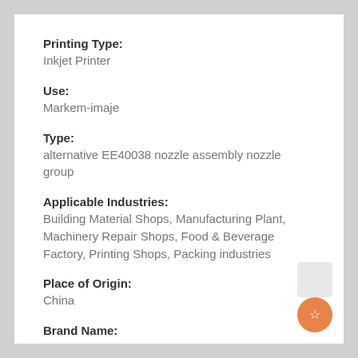Printing Type:
Inkjet Printer
Use:
Markem-imaje
Type:
alternative EE40038 nozzle assembly nozzle group
Applicable Industries:
Building Material Shops, Manufacturing Plant, Machinery Repair Shops, Food & Beverage Factory, Printing Shops, Packing industries
Place of Origin:
China
Brand Name: